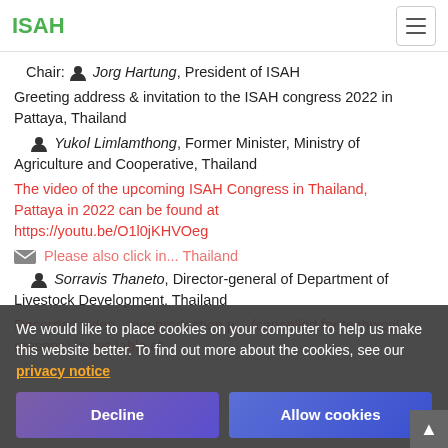ISAH
Chair: 👤 Jorg Hartung, President of ISAH
Greeting address & invitation to the ISAH congress 2022 in Pattaya, Thailand
👤 Yukol Limlamthong, Former Minister, Ministry of Agriculture and Cooperative, Thailand
The video of the upcoming ISAH Congress in Thailand, Pattaya in 2022 can be found at https://youtu.be/O1l0jKHVOeg
📋 Please also click in...Thailand
👤 Sorravis Thaneto, Director-general of Department of Livestock Development, Thailand
Recorded video ... pig production p... (cancelled for technical reasons) is available at
We would like to place cookies on your computer to help us make this website better. To find out more about the cookies, see our privacy notice